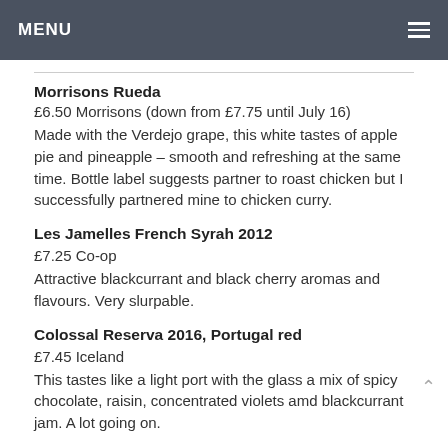MENU
Morrisons Rueda
£6.50 Morrisons (down from £7.75 until July 16)
Made with the Verdejo grape, this white tastes of apple pie and pineapple – smooth and refreshing at the same time. Bottle label suggests partner to roast chicken but I successfully partnered mine to chicken curry.
Les Jamelles French Syrah 2012
£7.25 Co-op
Attractive blackcurrant and black cherry aromas and flavours. Very slurpable.
Colossal Reserva 2016, Portugal red
£7.45 Iceland
This tastes like a light port with the glass a mix of spicy chocolate, raisin, concentrated violets amd blackcurrant jam. A lot going on.